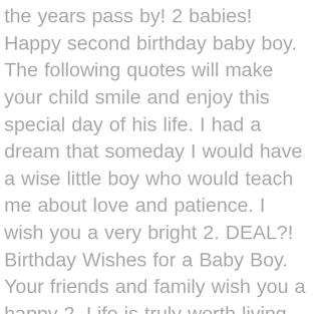the years pass by! 2 babies! Happy second birthday baby boy. The following quotes will make your child smile and enjoy this special day of his life. I had a dream that someday I would have a wise little boy who would teach me about love and patience. I wish you a very bright 2. DEAL?! Birthday Wishes for a Baby Boy. Your friends and family wish you a happy 2. Life is truly worth living with the most beautiful 2-year-old girl in it. Here are some amazing first birthday wishes for a baby boy: For a Son. That's my cute nephew who is always ready for the potty. Number 2 is perfect for twins. You're small but can control your big granny's heart. We have been blessed so much. A two-year-old baby boy with two dimples is celebrating his birthday. 1. You're 2 today, and you're on your way to greatness. I know you're turning two, but I still can't figure out what is so terrible about you. Happy 2nd birthday to the cutest little girl around. Here are some 2nd birthday wishes crafted specifically for your son. Happy Birthday, sweetheart! Happy Birthday mate! Happy Birthday to our little boss! Here are